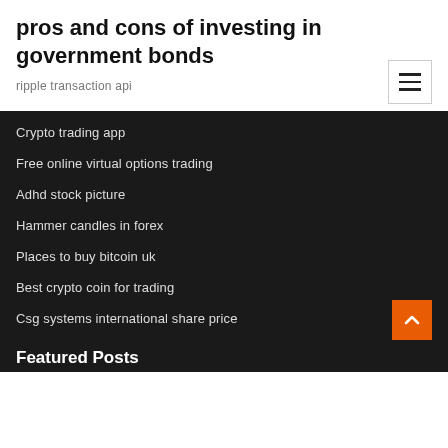pros and cons of investing in government bonds
ripple transaction api
Crypto trading app
Free online virtual options trading
Adhd stock picture
Hammer candles in forex
Places to buy bitcoin uk
Best crypto coin for trading
Csg systems international share price
Featured Posts